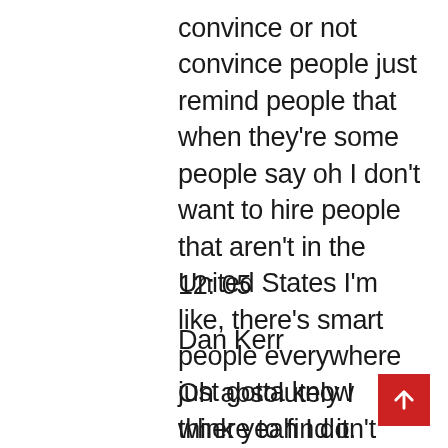convince or not convince people just remind people that when they're some people say oh I don't want to hire people that aren't in the United States I'm like, there's smart people everywhere just gotta know where to find it.
12: 05
Dan Kerr
Oh absolutely I think yeah I don't think that ability is all at all constrained by Geography I think